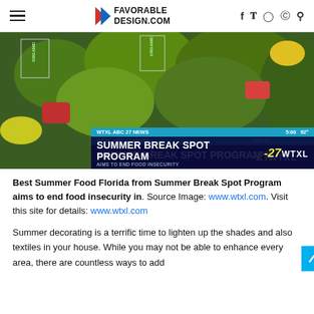FAVORABLE DESIGN.COM
[Figure (screenshot): TV news screenshot showing grocery store produce section with overlay text: WTXL ABC 27 NEWS / SUMMER BREAK SPOT PROGRAM / AIMS TO END FOOD INSECURITY, with -27 WTXL logo and time 5:00 / 92°]
Best Summer Food Florida from Summer Break Spot Program aims to end food insecurity in. Source Image: www.wtxl.com. Visit this site for details: www.wtxl.com
Summer decorating is a terrific time to lighten up the shades and also textiles in your house. While you may not be able to enhance every area, there are countless ways to add